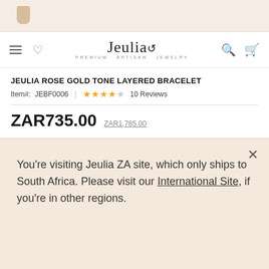Jeulia - PREMIUM ARTISAN JEWELRY
JEULIA ROSE GOLD TONE LAYERED BRACELET
Item#: JEBF0006 | ★★★★☆ 10 Reviews
ZAR735.00  ZAR1,785.00
[Figure (infographic): 8th Anniversary promotion banner: Buy 2 Or More 20% OFF, USE CODE: M20. 8th Anniversary Sale >>]
You're visiting Jeulia ZA site, which only ships to South Africa. Please visit our International Site, if you're in other regions.